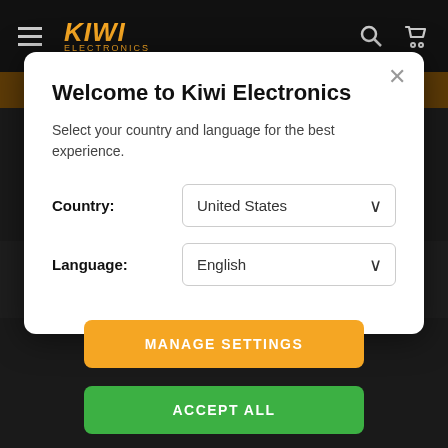[Figure (screenshot): Kiwi Electronics website navigation bar with hamburger menu, logo, search and cart icons on dark background]
Welcome to Kiwi Electronics
Select your country and language for the best experience.
Country: United States
Language: English
This website uses cookies to ensure you get the best experience on our website. Privacy Policy
MANAGE SETTINGS
ACCEPT ALL